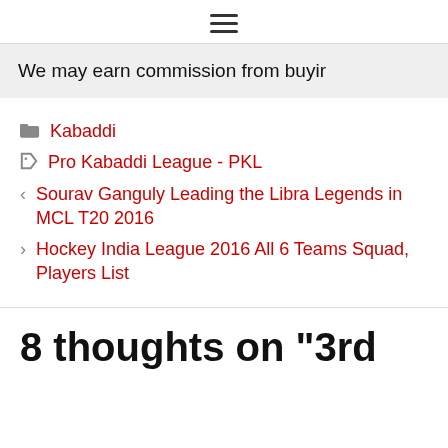☰
We may earn commission from buyir
Kabaddi
Pro Kabaddi League - PKL
< Sourav Ganguly Leading the Libra Legends in MCL T20 2016
> Hockey India League 2016 All 6 Teams Squad, Players List
8 thoughts on "3rd